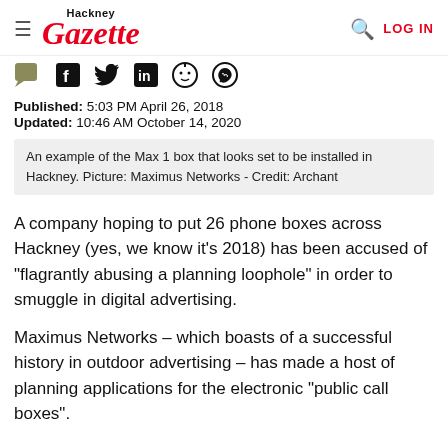Hackney Gazette | LOG IN
[Figure (other): Social media sharing icons: comment, Facebook, Twitter, LinkedIn, Reddit, WhatsApp]
Published: 5:03 PM April 26, 2018
Updated: 10:46 AM October 14, 2020
An example of the Max 1 box that looks set to be installed in Hackney. Picture: Maximus Networks - Credit: Archant
A company hoping to put 26 phone boxes across Hackney (yes, we know it’s 2018) has been accused of “flagrantly abusing a planning loophole” in order to smuggle in digital advertising.
Maximus Networks – which boasts of a successful history in outdoor advertising – has made a host of planning applications for the electronic “public call boxes”.